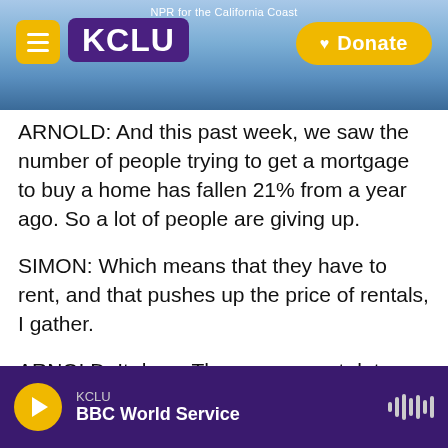NPR for the California Coast | KCLU | Donate
ARNOLD: And this past week, we saw the number of people trying to get a mortgage to buy a home has fallen 21% from a year ago. So a lot of people are giving up.
SIMON: Which means that they have to rent, and that pushes up the price of rentals, I gather.
ARNOLD: It does. The government data shows that rents are rising faster than normal. The big problem here is that after the last housing crash, we just didn't build enough homes to rent or to buy for about a decade. And that's the biggest reason housing is so expensive. So we just need to build a
KCLU | BBC World Service